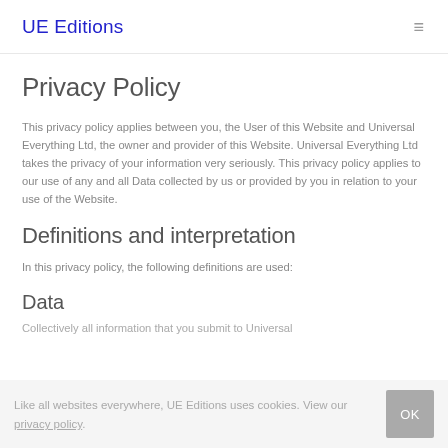UE Editions
Privacy Policy
This privacy policy applies between you, the User of this Website and Universal Everything Ltd, the owner and provider of this Website. Universal Everything Ltd takes the privacy of your information very seriously. This privacy policy applies to our use of any and all Data collected by us or provided by you in relation to your use of the Website.
Definitions and interpretation
In this privacy policy, the following definitions are used:
Data
Collectively all information that you submit to Universal
Like all websites everywhere, UE Editions uses cookies. View our privacy policy.